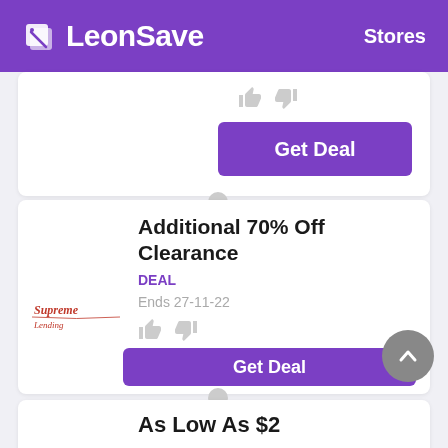LeonSave   Stores
[Figure (screenshot): Partial deal card showing thumbs up/down icons and a purple Get Deal button]
Additional 70% Off Clearance
DEAL
Ends 27-11-22
[Figure (logo): Supreme Lending or similar red cursive logo]
Get Deal
As Low As $2
DEAL